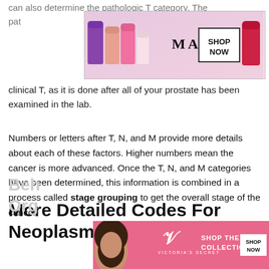can also determine the pathologic T category. The pathologic T category is more accurate than the clinical T, as it is done after all of your prostate has been examined in the lab.
[Figure (photo): MAC cosmetics advertisement banner showing colorful lipsticks and a SHOP NOW button]
Numbers or letters after T, N, and M provide more details about each of these factors. Higher numbers mean the cancer is more advanced. Once the T, N, and M categories have been determined, this information is combined in a process called stage grouping to get the overall stage of the cancer.
More Detailed Codes For Neoplasm Of Unspecified
Behavior Of Unspecified Primary
Org...
[Figure (photo): Victoria's Secret advertisement banner with model, VS logo, SHOP THE COLLECTION and SHOP NOW button]